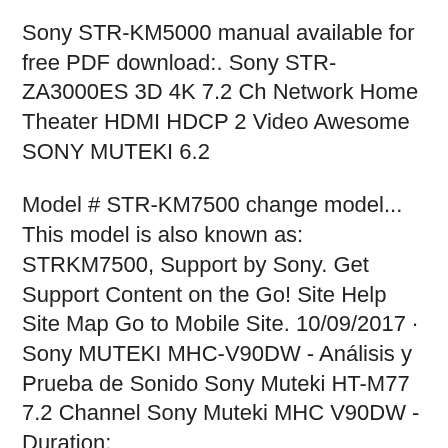Sony STR-KM5000 manual available for free PDF download:. Sony STR-ZA3000ES 3D 4K 7.2 Ch Network Home Theater HDMI HDCP 2 Video Awesome SONY MUTEKI 6.2
Model # STR-KM7500 change model... This model is also known as: STRKM7500, Support by Sony. Get Support Content on the Go! Site Help Site Map Go to Mobile Site. 10/09/2017 · Sony MUTEKI MHC-V90DW - Análisis y Prueba de Sonido Sony Muteki HT-M77 7.2 Channel Sony Muteki MHC V90DW - Duration:
10/02/2014 · Does the SONY MUTEKI 5.2Ch 1200W RMS produce good audio